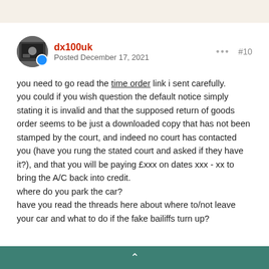dx100uk
Posted December 17, 2021
you need to go read the time order link i sent carefully.
you could if you wish question the default notice simply stating it is invalid and that the supposed return of goods order seems to be just a downloaded copy that has not been stamped by the court, and indeed no court has contacted you (have you rung the stated court and asked if they have it?), and that you will be paying £xxx on dates xxx - xx to bring the A/C back into credit.
where do you park the car?
have you read the threads here about where to/not leave your car and what to do if the fake bailiffs turn up?
^